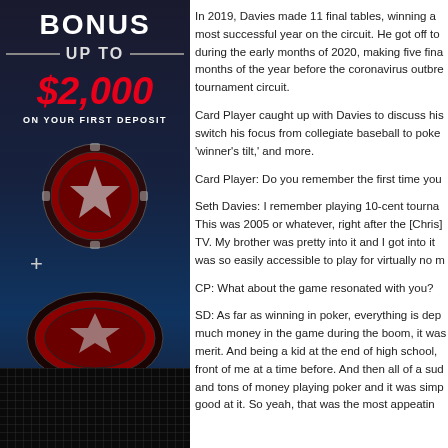[Figure (illustration): Dark-themed casino advertisement panel with red poker chips, showing 'BONUS UP TO $2,000 ON YOUR FIRST DEPOSIT' text]
In 2019, Davies made 11 final tables, winning a most successful year on the circuit. He got off to during the early months of 2020, making five fina months of the year before the coronavirus outbre tournament circuit.
Card Player caught up with Davies to discuss his switch his focus from collegiate baseball to poke 'winner's tilt,' and more.
Card Player: Do you remember the first time you
Seth Davies: I remember playing 10-cent tourna This was 2005 or whatever, right after the [Chris] TV. My brother was pretty into it and I got into it was so easily accessible to play for virtually no m
CP: What about the game resonated with you?
SD: As far as winning in poker, everything is dep much money in the game during the boom, it was merit. And being a kid at the end of high school, front of me at a time before. And then all of a sud and tons of money playing poker and it was simp good at it. So yeah, that was the most appeatin